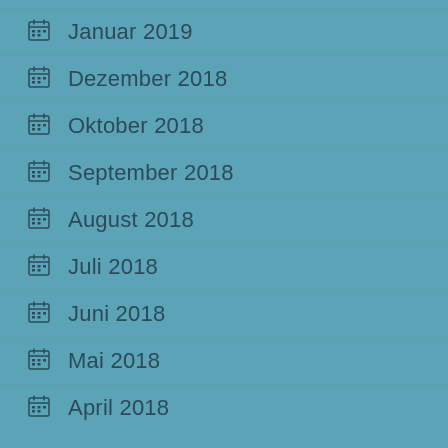Januar 2019
Dezember 2018
Oktober 2018
September 2018
August 2018
Juli 2018
Juni 2018
Mai 2018
April 2018